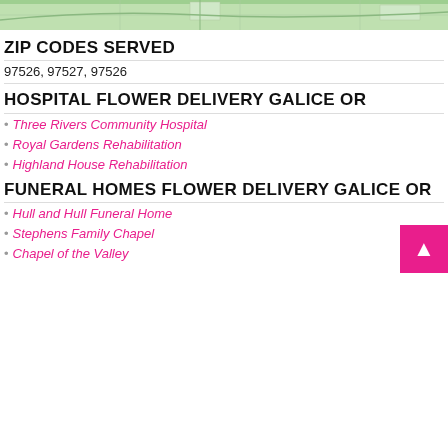[Figure (map): Partial green map visible at the top of the page]
ZIP CODES SERVED
97526, 97527, 97526
HOSPITAL FLOWER DELIVERY GALICE OR
Three Rivers Community Hospital
Royal Gardens Rehabilitation
Highland House Rehabilitation
FUNERAL HOMES FLOWER DELIVERY GALICE OR
Hull and Hull Funeral Home
Stephens Family Chapel
Chapel of the Valley